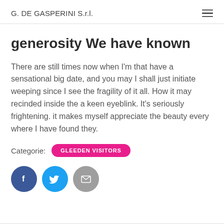G. DE GASPERINI S.r.l.
generosity We have known
There are still times now when I'm that have a sensational big date, and you may I shall just initiate weeping since I see the fragility of it all. How it may recinded inside the a keen eyeblink. It's seriously frightening. it makes myself appreciate the beauty every where I have found they.
Categorie: GLEEDEN VISITORS
[Figure (infographic): Three social media icon buttons: Facebook (dark blue circle with 'f'), Twitter (light blue circle with bird icon), Email (grey circle with envelope icon)]